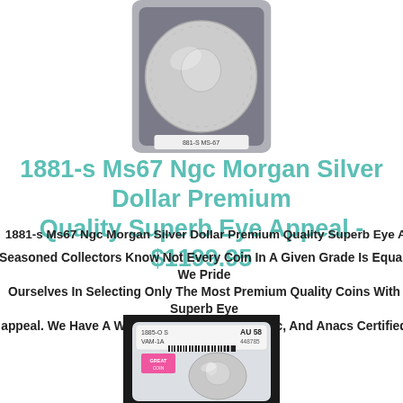[Figure (photo): NGC graded Morgan Silver Dollar coin in slab, top view, obverse showing Liberty head, dark background holder]
1881-s Ms67 Ngc Morgan Silver Dollar Premium Quality Superb Eye Appeal - $1199.95
1881-s Ms67 Ngc Morgan Silver Dollar Premium Quality Superb Eye Appeal
Seasoned Collectors Know Not Every Coin In A Given Grade Is Equal. We Pride Ourselves In Selecting Only The Most Premium Quality Coins With Superb Eye appeal. We Have A Wide Selection Of Pcgs, Ngc, And Anacs Certified Coins.
[Figure (photo): NGC graded Morgan Silver Dollar coin (AU 58, 1885-O S, VAM-1A, certificate #448785) in slab with pink sticker, obverse showing Liberty head, on dark background]